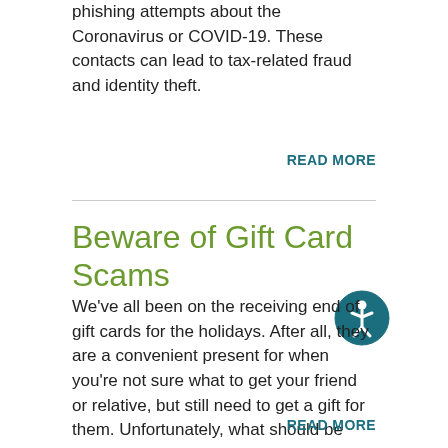phishing attempts about the Coronavirus or COVID-19. These contacts can lead to tax-related fraud and identity theft.
READ MORE
Beware of Gift Card Scams
We've all been on the receiving end of gift cards for the holidays. After all, they are a convenient present for when you're not sure what to get your friend or relative, but still need to get a gift for them. Unfortunately, what should be something harmless can often be used by scammers as a way to defraud people out of their money.
READ MORE